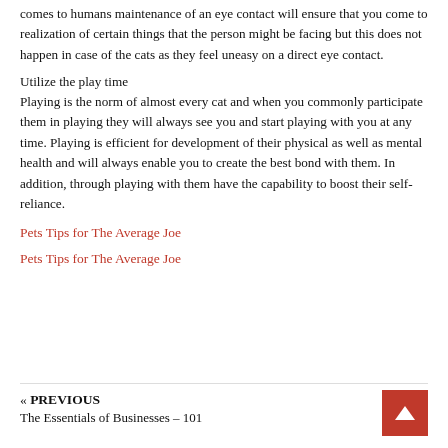comes to humans maintenance of an eye contact will ensure that you come to realization of certain things that the person might be facing but this does not happen in case of the cats as they feel uneasy on a direct eye contact.
Utilize the play time
Playing is the norm of almost every cat and when you commonly participate them in playing they will always see you and start playing with you at any time. Playing is efficient for development of their physical as well as mental health and will always enable you to create the best bond with them. In addition, through playing with them have the capability to boost their self-reliance.
Pets Tips for The Average Joe
Pets Tips for The Average Joe
« PREVIOUS
The Essentials of Businesses – 101